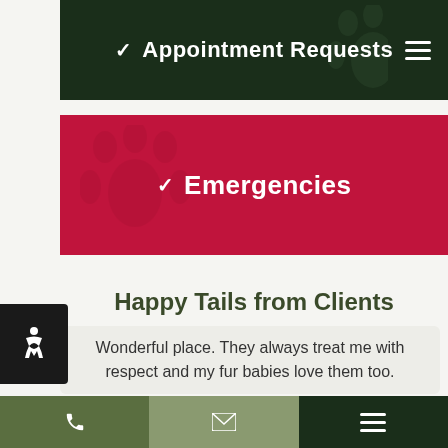✓ Appointment Requests
✓ Emergencies
Happy Tails from Clients
Wonderful place. They always treat me with respect and my fur babies love them too.
- Kevin B.